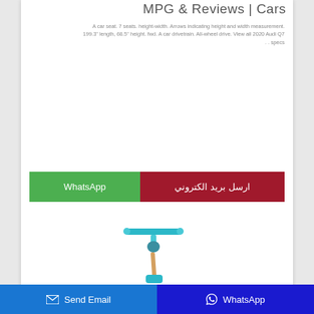MPG & Reviews | Cars
A car seat. 7 seats. height-width. Arrows indicating height and width measurement. 199.3" length, 68.5" height. fwd. A car drivetrain. All-wheel drive. View all 2020 Audi Q7 . . specs
[Figure (other): Two contact buttons side by side: a green WhatsApp button and a dark red Arabic email button reading 'ارسل بريد الكتروني']
[Figure (photo): A teal/blue children's kick scooter with T-bar handlebars, partially visible at the bottom of the page]
Send Email  WhatsApp